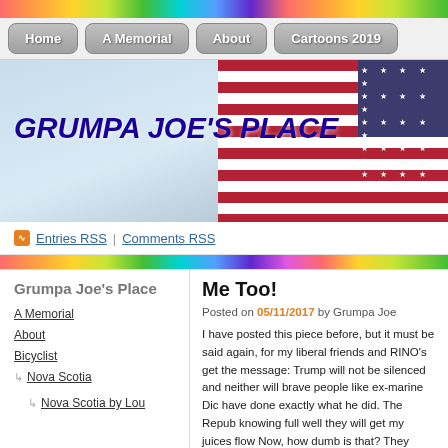GRUMPA JOE'S PLACE — website header with navigation
[Figure (screenshot): Website header banner with American flag photo and site title 'GRUMPA JOE'S PLACE' in blue italic text on a sky background]
Entries RSS | Comments RSS
Me Too!
Posted on 05/11/2017 by Grumpa Joe
I have posted this piece before, but it must be said again, for my liberal friends and RINO's get the message: Trump will not be silenced and neither will brave people like ex-marine Dick etc. have done exactly what he did. The Republic knowing full well they will get my juices flow Now, how dumb is that? They know full well
Grumpa Joe's Place
A Memorial
About
Bicyclist
Nova Scotia
Nova Scotia by Lou